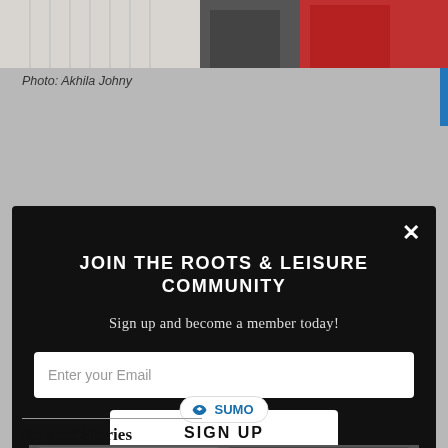[Figure (photo): Top portion of an article page showing two people — one in gray and one in red — against a light background. Photo credit: Akhila Johny.]
Photo: Akhila Johny
[Figure (screenshot): Modal popup with black background overlaying the page. Contains title 'JOIN THE ROOTS & LEISURE COMMUNITY', subtitle 'Sign up and become a member today!', an email input field, and a SIGN UP button. Has a close (×) button in top right corner. Powered by SUMO badge below.]
Related Stories
[Figure (photo): Black and white photograph at the bottom of the page showing a person in front of decorative murals or artwork.]